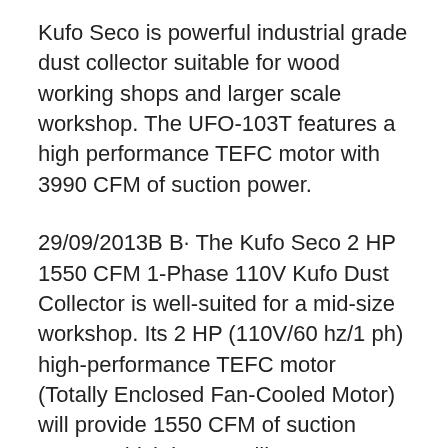Kufo Seco is powerful industrial grade dust collector suitable for wood working shops and larger scale workshop. The UFO-103T features a high performance TEFC motor with 3990 CFM of suction power.
29/09/2013B B· The Kufo Seco 2 HP 1550 CFM 1-Phase 110V Kufo Dust Collector is well-suited for a mid-size workshop. Its 2 HP (110V/60 hz/1 ph) high-performance TEFC motor (Totally Enclosed Fan-Cooled Motor) will provide 1550 CFM of suction power, which in turn will create 4.2 cu ft of dust collection. 10/02/2012B B· Kufo Seco UFO-101H2, 2HP, 1phase 220V.1550 CFM Vertical Bag Dust Collector. Shop